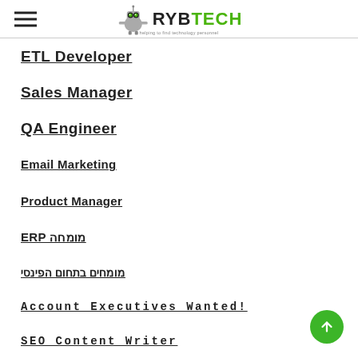RYBTECH - Menu/Navigation
ETL Developer
Sales Manager
QA Engineer
Email Marketing
Product Manager
ERP מומחה
מומחים בתחום הפינסי
Account Executives Wanted!
SEO Content Writer
Web Developer